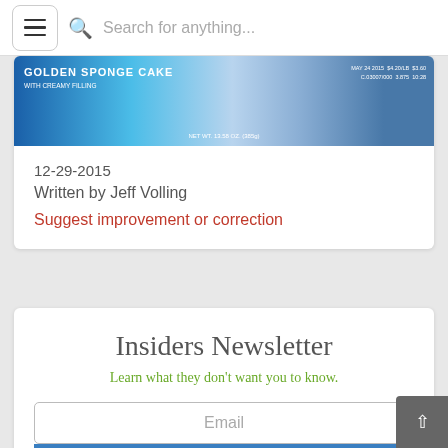Search for anything...
[Figure (photo): Product image of a golden sponge cake with creamy filling, showing blue packaging. NET WT. 13.58 OZ. (385g). Date: MAY 24 2015, $4.20/LB $3.60, C.03007/000 3.875 10:28]
12-29-2015
Written by Jeff Volling
Suggest improvement or correction
Insiders Newsletter
Learn what they don't want you to know.
Email
Add Me